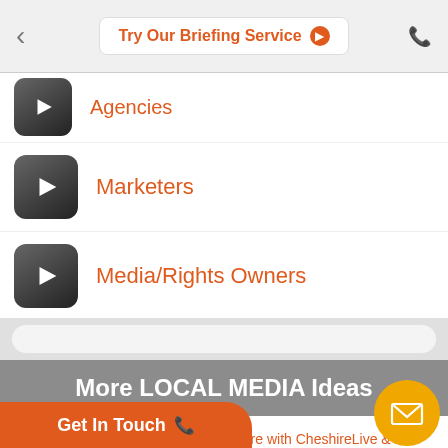Try Our Briefing Service
Agencies
Marketers
Media/Rights Owners
More LOCAL MEDIA Ideas
Advertise in Cheshire with CheshireLive & the Chester Chronicle
Advertise your brand on Pharmacy Bags
Get In Touch